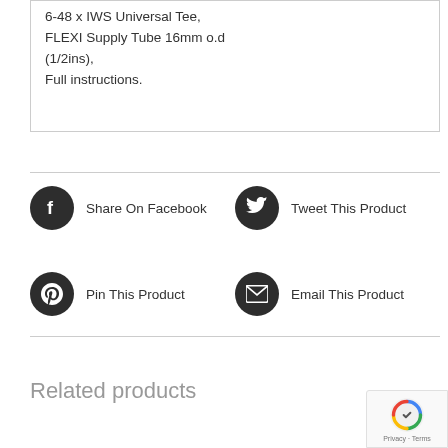6-48 x IWS Universal Tee, FLEXI Supply Tube 16mm o.d (1/2ins), Full instructions.
[Figure (infographic): Social sharing buttons: Facebook share, Twitter tweet, Pinterest pin, Email product]
Related products